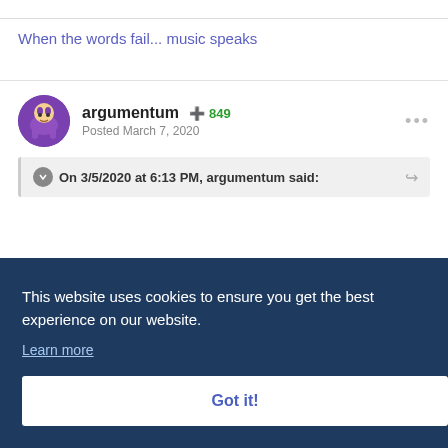When the words fail... music speaks
[Figure (illustration): User avatar for argumentum - cartoon character with purple outfit]
argumentum  +849
Posted March 7, 2020
On 3/5/2020 at 6:13 PM, argumentum said:
...ast in
...sted,
...ything
...lot that
...ulated
This website uses cookies to ensure you get the best experience on our website.
Learn more
Got it!